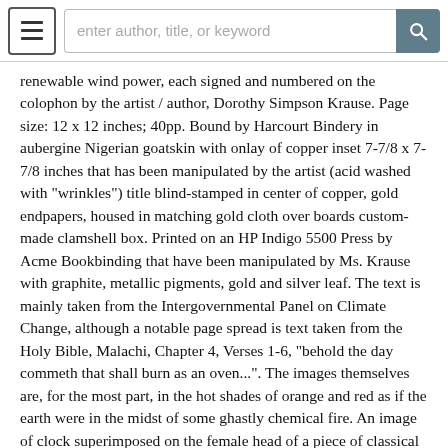Navigation header with menu button and search bar: enter author, title, or keyword
renewable wind power, each signed and numbered on the colophon by the artist / author, Dorothy Simpson Krause. Page size: 12 x 12 inches; 40pp. Bound by Harcourt Bindery in aubergine Nigerian goatskin with onlay of copper inset 7-7/8 x 7-7/8 inches that has been manipulated by the artist (acid washed with "wrinkles") title blind-stamped in center of copper, gold endpapers, housed in matching gold cloth over boards custom-made clamshell box. Printed on an HP Indigo 5500 Press by Acme Bookbinding that have been manipulated by Ms. Krause with graphite, metallic pigments, gold and silver leaf. The text is mainly taken from the Intergovernmental Panel on Climate Change, although a notable page spread is text taken from the Holy Bible, Malachi, Chapter 4, Verses 1-6, "behold the day commeth that shall burn as an oven...". The images themselves are, for the most part, in the hot shades of orange and red as if the earth were in the midst of some ghastly chemical fire. An image of clock superimposed on the female head of a piece of classical statuary, dotted line through the blank eyes, with a backdrop of an aerial map of agricultural fields, makes the message clear without one word. Time is running out for a green earth. The artist's plea for awareness of our role as stewards of the environment is eloquent. Using traditional processes with print-on-demand technology, she has created a beautiful book. Item #10289